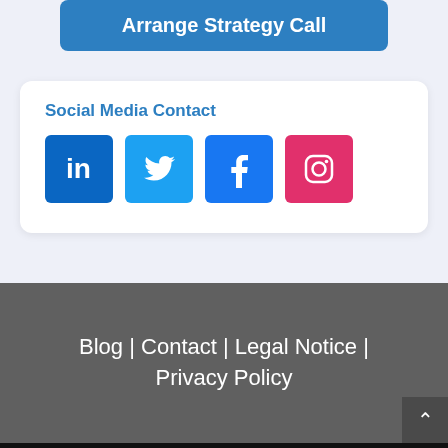[Figure (screenshot): Blue rounded button with text 'Arrange Strategy Call']
Social Media Contact
[Figure (infographic): Social media icons: LinkedIn (dark blue), Twitter (light blue), Facebook (blue), Instagram (pink/red)]
Blog | Contact | Legal Notice | Privacy Policy
Diese Website benutzt Cookies. Wenn Sie die Website weiter nutzen, gehen wir von ihrem Einverständnis aus. Alles über Cookies finden Sie in unseren Datenschutzerklärungen.
OK  Datenschutzerklärung